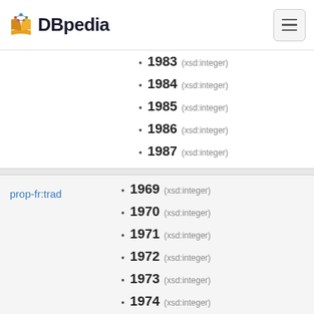DBpedia
1983 (xsd:integer)
1984 (xsd:integer)
1985 (xsd:integer)
1986 (xsd:integer)
1987 (xsd:integer)
prop-fr:trad
1969 (xsd:integer)
1970 (xsd:integer)
1971 (xsd:integer)
1972 (xsd:integer)
1973 (xsd:integer)
1974 (xsd:integer)
1977 (xsd:integer)
1978 (xsd:integer)
1979 (xsd:integer)
1980 (xsd:integer)
1981 (xsd:integer)